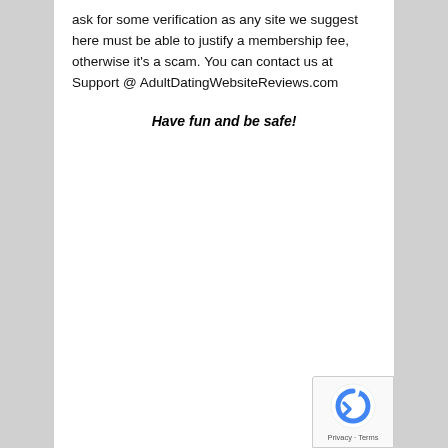ask for some verification as any site we suggest here must be able to justify a membership fee, otherwise it's a scam. You can contact us at Support @ AdultDatingWebsiteReviews.com
Have fun and be safe!
[Figure (logo): reCAPTCHA badge with logo icon and Privacy · Terms links]